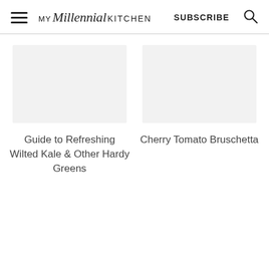MY Millennial KITCHEN  SUBSCRIBE
Guide to Refreshing Wilted Kale & Other Hardy Greens
Cherry Tomato Bruschetta